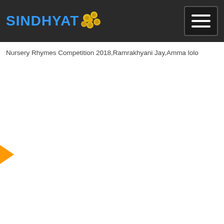SINDHYAT
Nursery Rhymes Competition 2018,Ramrakhyani Jay,Amma lolo
[Figure (other): Orange right-pointing arrow on the left side of a blank white content area, indicating navigation or play control for a video/media item.]